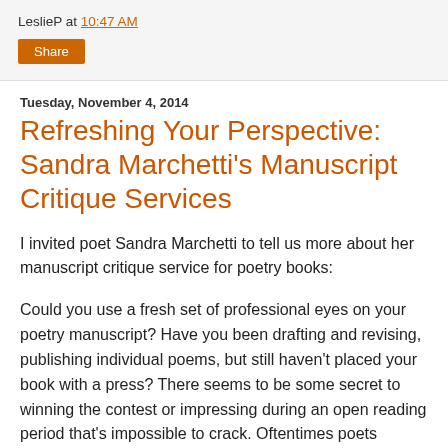LeslieP at 10:47 AM
Share
Tuesday, November 4, 2014
Refreshing Your Perspective: Sandra Marchetti's Manuscript Critique Services
I invited poet Sandra Marchetti to tell us more about her manuscript critique service for poetry books:
Could you use a fresh set of professional eyes on your poetry manuscript? Have you been drafting and revising, publishing individual poems, but still haven't placed your book with a press? There seems to be some secret to winning the contest or impressing during an open reading period that's impossible to crack. Oftentimes poets believe